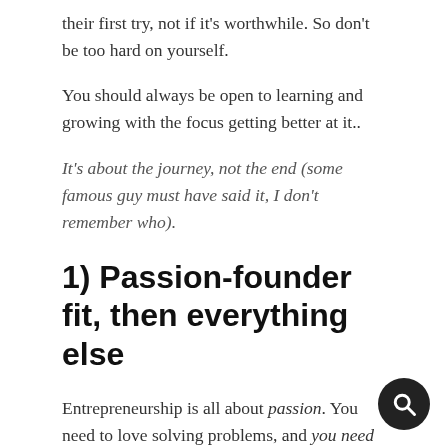their first try, not if it's worthwhile. So don't be too hard on yourself.
You should always be open to learning and growing with the focus getting better at it..
It's about the journey, not the end (some famous guy must have said it, I don't remember who).
1) Passion-founder fit, then everything else
Entrepreneurship is all about passion. You need to love solving problems, and you need to love what you do.